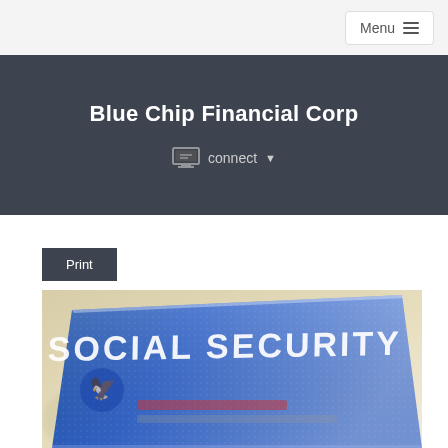Menu
Blue Chip Financial Corp
connect
Print
[Figure (photo): Close-up photograph of a Social Security card, showing the blue card with embossed text reading SOCIAL SECURITY at the top, angled perspective view]